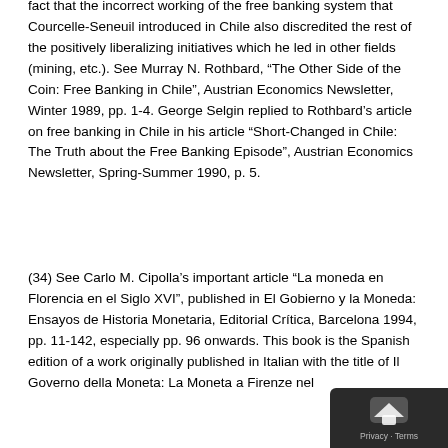fact that the incorrect working of the free banking system that Courcelle-Seneuil introduced in Chile also discredited the rest of the positively liberalizing initiatives which he led in other fields (mining, etc.). See Murray N. Rothbard, “The Other Side of the Coin: Free Banking in Chile”, Austrian Economics Newsletter, Winter 1989, pp. 1-4. George Selgin replied to Rothbard’s article on free banking in Chile in his article “Short-Changed in Chile: The Truth about the Free Banking Episode”, Austrian Economics Newsletter, Spring-Summer 1990, p. 5.
(34) See Carlo M. Cipolla’s important article “La moneda en Florencia en el Siglo XVI”, published in El Gobierno y la Moneda: Ensayos de Historia Monetaria, Editorial Crítica, Barcelona 1994, pp. 11-142, especially pp. 96 onwards. This book is the Spanish edition of a work originally published in Italian with the title of Il Governo della Moneta: La Moneta a Firenze nel